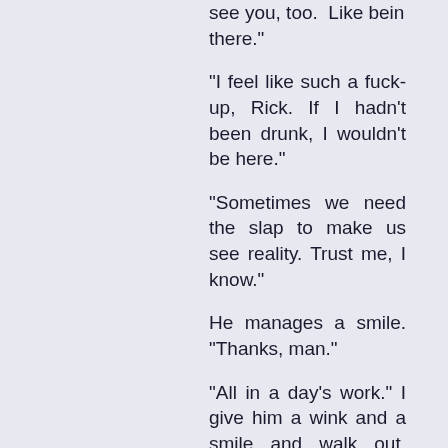see you, too. Like bein there."
"I feel like such a fuck-up, Rick. If I hadn't been drunk, I wouldn't be here."
"Sometimes we need the slap to make us see reality. Trust me, I know."
He manages a smile. "Thanks, man."
"All in a day's work." I give him a wink and a smile and walk out, purposefully avoiding Vince's gaze.
By now, I'm a man on a mission.
First Pepper.
Now Lou.
I'll get to the bottom of it—preferably without having to deal with the Vince, a.k.a. The Sheriff of Nottingham.